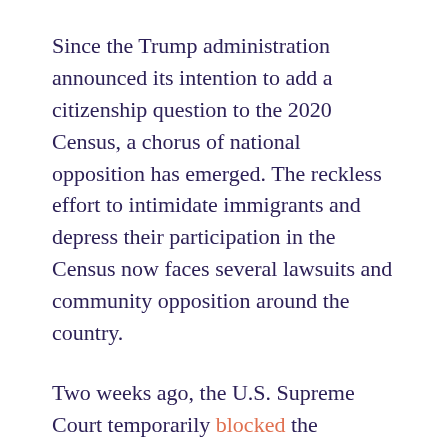Since the Trump administration announced its intention to add a citizenship question to the 2020 Census, a chorus of national opposition has emerged. The reckless effort to intimidate immigrants and depress their participation in the Census now faces several lawsuits and community opposition around the country.
Two weeks ago, the U.S. Supreme Court temporarily blocked the deposition of U.S. Secretary of Commerce Wilbur Ross in the consolidated lawsuit against adding a citizenship question to the 2020 Census. However, the court ruled that Assistant Attorney General John Gore can be